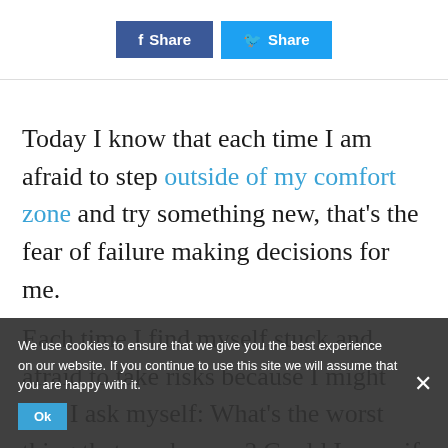f Share | y Share
Today I know that each time I am afraid to step outside of my comfort zone and try something new, that's the fear of failure making decisions for me.
Each time I find myself stuck and afraid to take risks because I might fail, I ask myself: What's the worst thing that can happen? Could I cope if it did?
We use cookies to ensure that we give you the best experience on our website. If you continue to use this site we will assume that you are happy with it. Ok ×